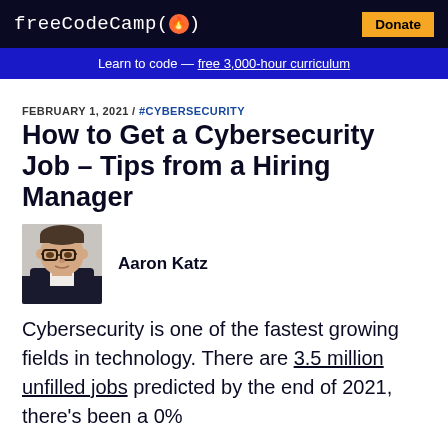freeCodeCamp (🔥)  Donate
Learn to code — free 3,000-hour curriculum
FEBRUARY 1, 2021 / #CYBERSECURITY
How to Get a Cybersecurity Job – Tips from a Hiring Manager
[Figure (photo): Headshot photo of Aaron Katz, a man with glasses wearing a suit]
Aaron Katz
Cybersecurity is one of the fastest growing fields in technology. There are 3.5 million unfilled jobs predicted by the end of 2021, there's been a 0%